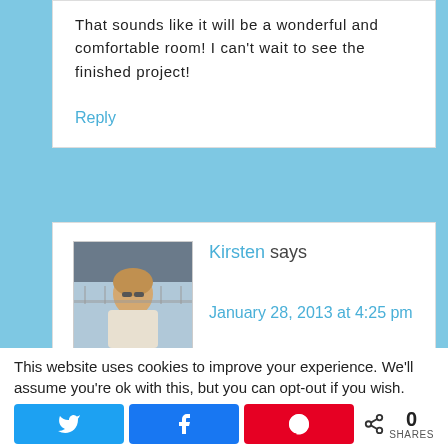That sounds like it will be a wonderful and comfortable room! I can't wait to see the finished project!
Reply
Kirsten says
January 28, 2013 at 4:25 pm
This website uses cookies to improve your experience. We'll assume you're ok with this, but you can opt-out if you wish.
0 SHARES